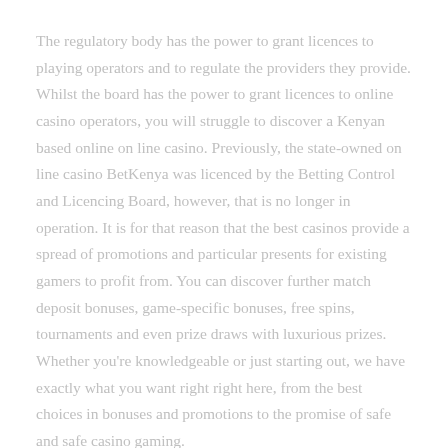The regulatory body has the power to grant licences to playing operators and to regulate the providers they provide. Whilst the board has the power to grant licences to online casino operators, you will struggle to discover a Kenyan based online on line casino. Previously, the state-owned on line casino BetKenya was licenced by the Betting Control and Licencing Board, however, that is no longer in operation. It is for that reason that the best casinos provide a spread of promotions and particular presents for existing gamers to profit from. You can discover further match deposit bonuses, game-specific bonuses, free spins, tournaments and even prize draws with luxurious prizes. Whether you're knowledgeable or just starting out, we have exactly what you want right right here, from the best choices in bonuses and promotions to the promise of safe and safe casino gaming.
Sometimes purses include vgo playing sites the right